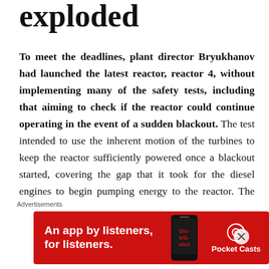exploded
To meet the deadlines, plant director Bryukhanov had launched the latest reactor, reactor 4, without implementing many of the safety tests, including that aiming to check if the reactor could continue operating in the event of a sudden blackout. The test intended to use the inherent motion of the turbines to keep the reactor sufficiently powered once a blackout started, covering the gap that it took for the diesel engines to begin pumping energy to the reactor. The test was finally scheduled to 26th April 1986, delayed to nighttime because Kiev's local authorithies didn't want
Advertisements
[Figure (other): Advertisement banner with red background. Text: 'An app by listeners, for listeners.' with Pocket Casts logo and a phone showing the app.]